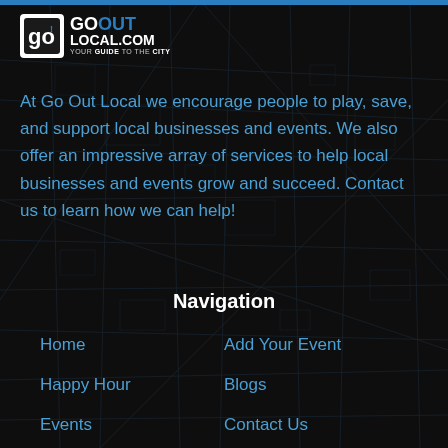[Figure (logo): Go Out Local .com logo with city map background]
At Go Out Local we encourage people to play, save, and support local businesses and events. We also offer an impressive array of services to help local businesses and events grow and succeed. Contact us to learn how we can help!
Navigation
Home
Add Your Event
Happy Hour
Blogs
Events
Contact Us